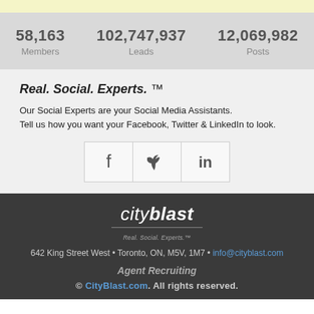58,163 Members
102,747,937 Leads
12,069,982 Posts
Real. Social. Experts. ™
Our Social Experts are your Social Media Assistants. Tell us how you want your Facebook, Twitter & LinkedIn to look.
[Figure (infographic): Social media icons for Facebook, Twitter, and LinkedIn in a horizontal row]
[Figure (logo): CityBlast logo with text 'cityblast Real. Social. Experts.']
642 King Street West • Toronto, ON, M5V, 1M7 • info@cityblast.com
Agent Recruiting
© CityBlast.com. All rights reserved.